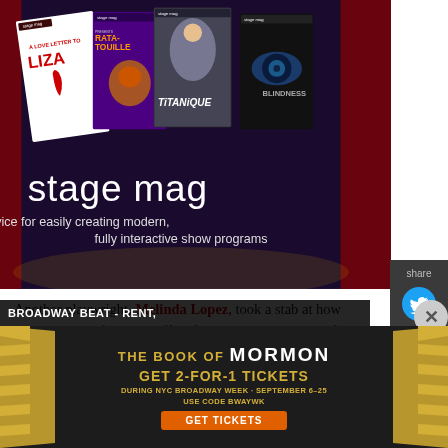[Figure (screenshot): Stage Mag promotional banner showing multiple show programs (A Love Letter to Liza, Ratatouille, Titanique, Blindness) with text 'stage mag — a new service for easily creating modern, fully interactive show programs']
[Figure (screenshot): Share sidebar with Twitter and Facebook icons on dark grey background]
Another playwright, Melinda Lopez, took a stab at how consumption of theatre differs from the consumption of alternative mediums, observing, "Theatre is always in process. If we get used to a
BROADWAY BEAT - RENT,
[Figure (screenshot): The Book of Mormon advertisement: GET 2-FOR-1 TICKETS DURING NYC BROADWAY WEEK · SEPTEMBER 6–25 USE CODE BWAYWK GET TICKETS]